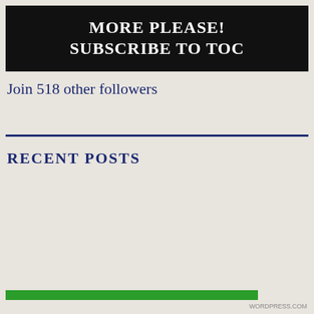MORE PLEASE! SUBSCRIBE TO TOC
Join 518 other followers
RECENT POSTS
Privacy & Cookies: This site uses cookies. By continuing to use this website, you agree to their use.
To find out more, including how to control cookies, see here: Cookie Policy
Close and accept